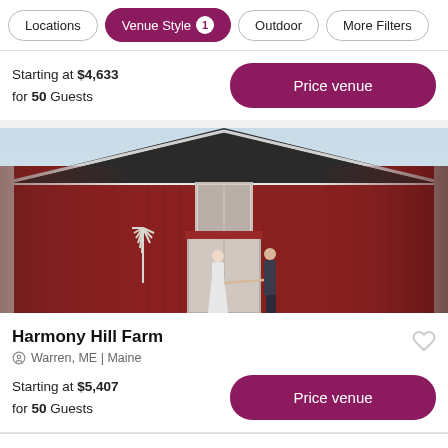Locations | Venue Style 1 | Outdoor | More Filters
Starting at $4,633 for 50 Guests
Price venue
[Figure (photo): Photo of a red barn wedding venue with a bride and groom holding hands in front of large white barn doors. The barn has vertical red wood siding and a white upper window.]
Harmony Hill Farm
Warren, ME | Maine
Starting at $5,407 for 50 Guests
Price venue